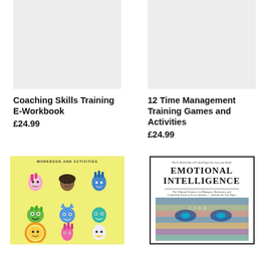[Figure (other): Grey placeholder image for Coaching Skills Training E-Workbook]
[Figure (other): Grey placeholder image for 12 Time Management Training Games and Activities]
Coaching Skills Training E-Workbook
£24.99
12 Time Management Training Games and Activities
£24.99
[Figure (illustration): Workbook and Activities book cover with yellow background and cartoon monster characters in a 3x3 grid]
[Figure (illustration): Emotional Intelligence e-book cover with bold title and face image with colorful overlays]